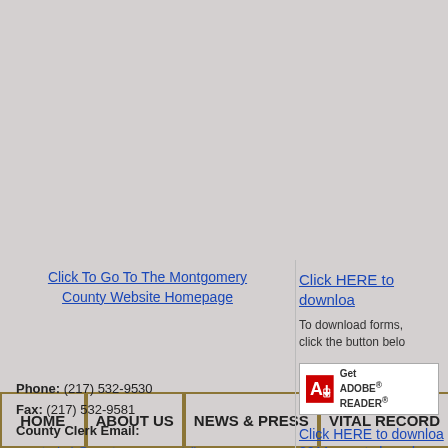HOME | ABOUT US | NEWS & PRESS | VITAL RECORD
Click To Go To The Montgomery County Website Homepage
Phone: (217) 532-9530
Fax: (217) 532-9581
County Clerk Email:
countyclerk@montgomerycountyil.gov
County Recorder Email:
recorder@montgomerycountyil.gov
Hours: Monday-Friday
8:00am - 4:00pm

Montgomery County Clerk & Recorder
Click HERE to download
To download forms, click the button below:
[Figure (logo): Get Adobe Reader button]
Click HERE to download 2011 county board me
Original Applicati
Application fo